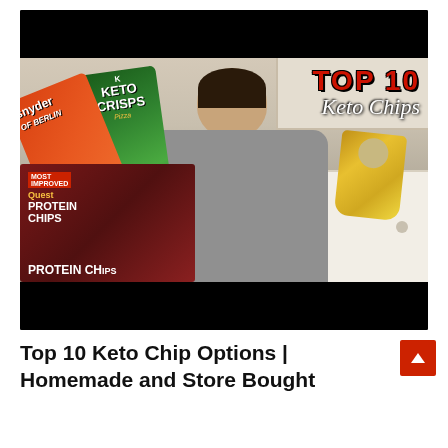[Figure (screenshot): YouTube video thumbnail showing a woman holding keto chip packages in a kitchen. Visible brands include Snyder of Berlin, Keto Crisps, and Quest Protein Chips. Text overlay reads 'TOP 10 Keto Chips' in red and white lettering.]
Top 10 Keto Chip Options | Homemade and Store Bought